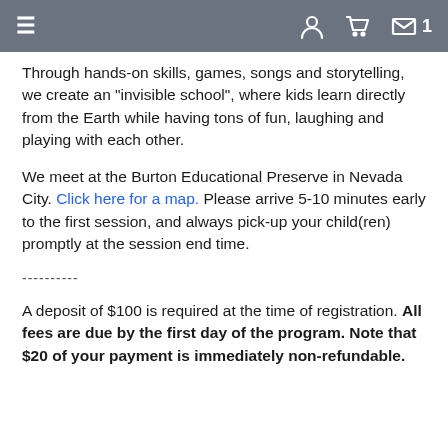≡  [user icon] [cart icon] [mail icon] 1
Through hands-on skills, games, songs and storytelling, we create an "invisible school", where kids learn directly from the Earth while having tons of fun, laughing and playing with each other.
We meet at the Burton Educational Preserve in Nevada City. Click here for a map. Please arrive 5-10 minutes early to the first session, and always pick-up your child(ren) promptly at the session end time.
----------
A deposit of $100 is required at the time of registration. All fees are due by the first day of the program. Note that $20 of your payment is immediately non-refundable.